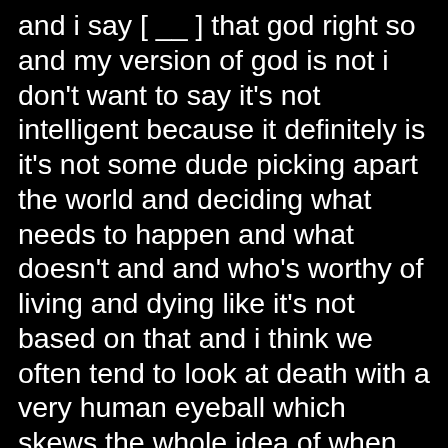and i say [ __ ] that god right so and my version of god is not i don't want to say it's not intelligent because it definitely is it's not some dude picking apart the world and deciding what needs to happen and what doesn't and and who's worthy of living and dying like it's not based on that and i think we often tend to look at death with a very human eyeball which skews the whole idea of when people pass like we look at it as this awful horrible negative thing instead of just they were here they served their purpose they're returning back to the energy that they came from well i could give you 27 other examples that don't include death of horrible things that happen to people number one god's will so my mom was raised in an incredibly abusive environment her